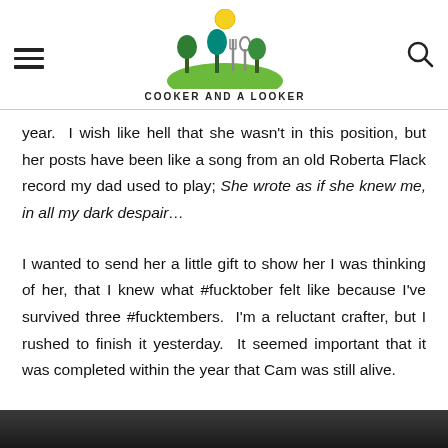COOKER AND A LOOKER
year. I wish like hell that she wasn't in this position, but her posts have been like a song from an old Roberta Flack record my dad used to play; She wrote as if she knew me, in all my dark despair…
I wanted to send her a little gift to show her I was thinking of her, that I knew what #fucktober felt like because I've survived three #fucktembers. I'm a reluctant crafter, but I rushed to finish it yesterday. It seemed important that it was completed within the year that Cam was still alive.
[Figure (photo): Bottom strip of a photograph, partially visible at the bottom of the page]